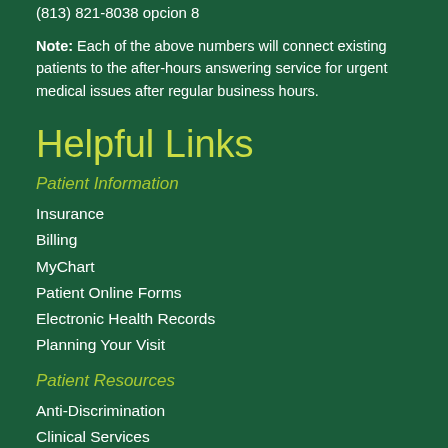(813) 821-8038 opcion 8
Note: Each of the above numbers will connect existing patients to the after-hours answering service for urgent medical issues after regular business hours.
Helpful Links
Patient Information
Insurance
Billing
MyChart
Patient Online Forms
Electronic Health Records
Planning Your Visit
Patient Resources
Anti-Discrimination
Clinical Services
Clinical Trials